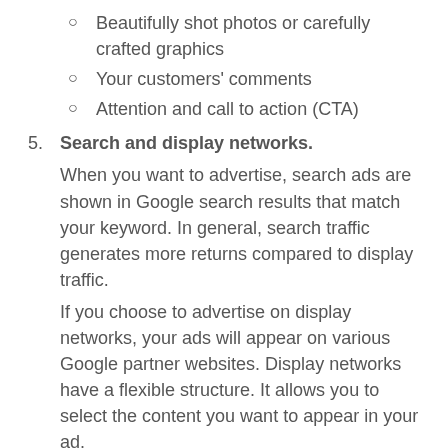Beautifully shot photos or carefully crafted graphics
Your customers' comments
Attention and call to action (CTA)
5. Search and display networks. When you want to advertise, search ads are shown in Google search results that match your keyword. In general, search traffic generates more returns compared to display traffic. If you choose to advertise on display networks, your ads will appear on various Google partner websites. Display networks have a flexible structure. It allows you to select the content you want to appear in your ad.